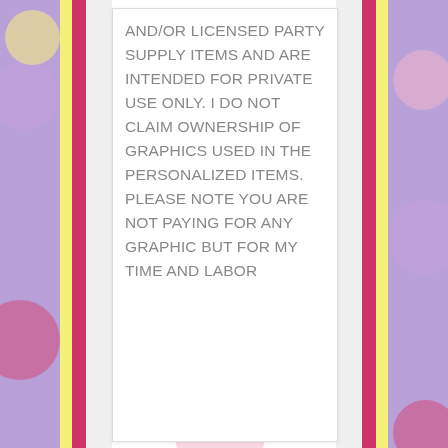AND/OR LICENSED PARTY SUPPLY ITEMS AND ARE INTENDED FOR PRIVATE USE ONLY. I DO NOT CLAIM OWNERSHIP OF GRAPHICS USED IN THE PERSONALIZED ITEMS. PLEASE NOTE YOU ARE NOT PAYING FOR ANY GRAPHIC BUT FOR MY TIME AND LABOR